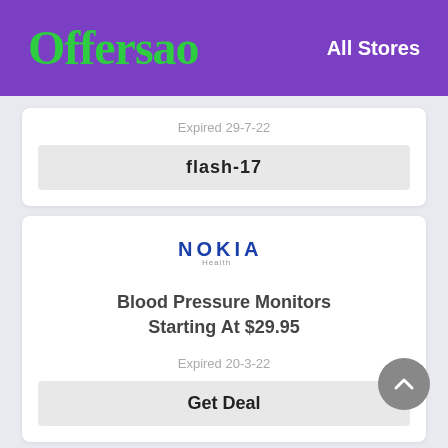Offersao — All Stores
Expired 29-7-22
flash-17
[Figure (logo): Nokia Health logo]
Blood Pressure Monitors Starting At $29.95
Expired 20-3-22
Get Deal